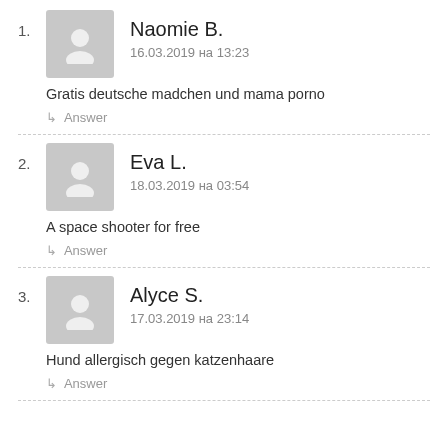1. Naomie B. — 16.03.2019 на 13:23 — Gratis deutsche madchen und mama porno
2. Eva L. — 18.03.2019 на 03:54 — A space shooter for free
3. Alyce S. — 17.03.2019 на 23:14 — Hund allergisch gegen katzenhaare